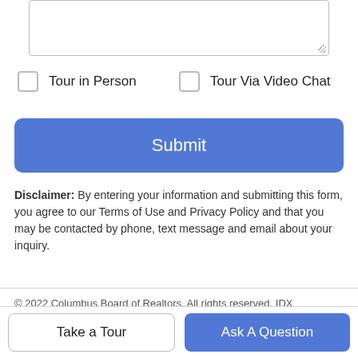[Figure (screenshot): Textarea input box with resize handle]
Tour in Person
Tour Via Video Chat
Submit
Disclaimer: By entering your information and submitting this form, you agree to our Terms of Use and Privacy Policy and that you may be contacted by phone, text message and email about your inquiry.
© 2022 Columbus Board of Realtors. All rights reserved. IDX information is provided exclusively for consumers' personal, non-commercial use and may not be used for any purpose other than to identify prospective properties consumers may be interested in purchasing. Information is deemed reliable but is not guaranteed accurate by the MLS or Simply Better Realty. Data last updated: 2022-08-20T08:08:06.523
Take a Tour
Ask A Question